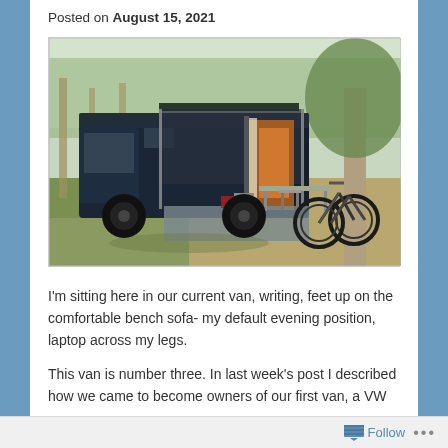Posted on August 15, 2021
[Figure (photo): A dark blue camper van parked under trees with an awning extended, outdoor mat and chairs set up, two bicycles parked to the right]
I'm sitting here in our current van, writing, feet up on the comfortable bench sofa- my default evening position, laptop across my legs.
This van is number three. In last week's post I described how we came to become owners of our first van, a VW